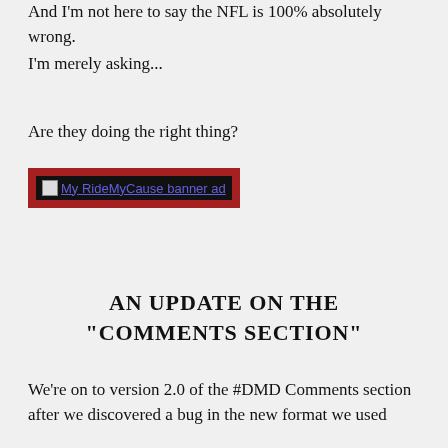And I'm not here to say the NFL is 100% absolutely wrong.
I'm merely asking...
Are they doing the right thing?
[Figure (other): My RideMyCause banner ad inside a dark red bordered box with black inner border]
AN UPDATE ON THE "COMMENTS SECTION"
We're on to version 2.0 of the #DMD Comments section after we discovered a bug in the new format we used